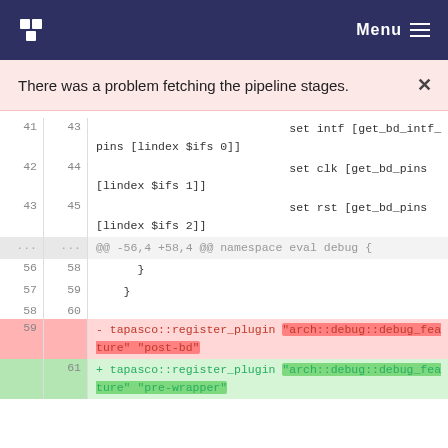Menu
There was a problem fetching the pipeline stages.
[Figure (screenshot): Code diff view showing lines 41-60 of a Tcl script with added and removed tapasco::register_plugin lines. Deleted line 59 registers 'arch::debug::debug_feature' with 'post-bd', added line 61 registers the same feature with 'pre-wrapper'.]